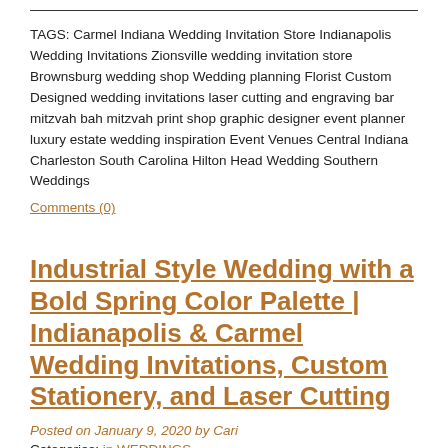TAGS: Carmel Indiana Wedding Invitation Store Indianapolis Wedding Invitations Zionsville wedding invitation store Brownsburg wedding shop Wedding planning Florist Custom Designed wedding invitations laser cutting and engraving bar mitzvah bah mitzvah print shop graphic designer event planner luxury estate wedding inspiration Event Venues Central Indiana Charleston South Carolina Hilton Head Wedding Southern Weddings
Comments (0)
Industrial Style Wedding with a Bold Spring Color Palette | Indianapolis & Carmel Wedding Invitations, Custom Stationery, and Laser Cutting
Posted on January 9, 2020 by Cari
Categories: in WEDDINGS